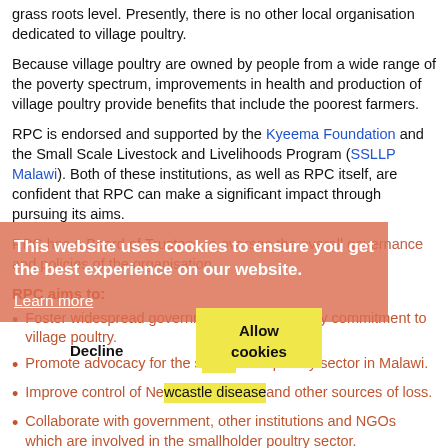grass roots level. Presently, there is no other local organisation dedicated to village poultry.
Because village poultry are owned by people from a wide range of the poverty spectrum, improvements in health and production of village poultry provide benefits that include the poorest farmers.
RPC is endorsed and supported by the Kyeema Foundation and the Small Scale Livestock and Livelihoods Program (SSLLP Malawi). Both of these institutions, as well as RPC itself, are confident that RPC can make a significant impact through pursuing its aims.
RPC has a Board of Trustees to oversee the overall governance and policies of the organisation.
This website uses cookies to ensure you get the best experience on our website.
Learn more
RPC aims to:
Foster widespread government and community commitment to village poultry.
Promote advocacy for the smallholder poultry sector in Malawi.
Improve control of Newcastle disease and other sources of loss.
Collaborate with government, other institutions and NGOs which are involved in the smallholder poultry sector.